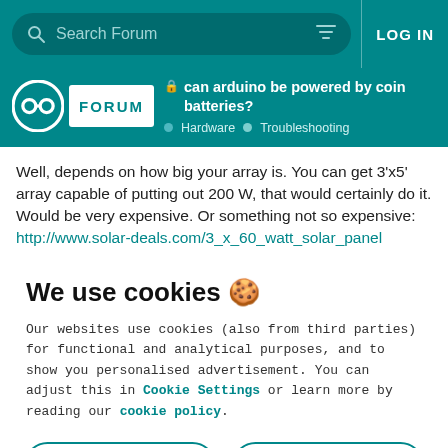Search Forum | LOG IN
can arduino be powered by coin batteries? Hardware Troubleshooting
Well, depends on how big your array is. You can get 3'x5' array capable of putting out 200 W, that would certainly do it. Would be very expensive. Or something not so expensive: http://www.solar-deals.com/3_x_60_watt_solar_panel
We use cookies 🍪
Our websites use cookies (also from third parties) for functional and analytical purposes, and to show you personalised advertisement. You can adjust this in Cookie Settings or learn more by reading our cookie policy.
ONLY REQUIRED | ACCEPT ALL